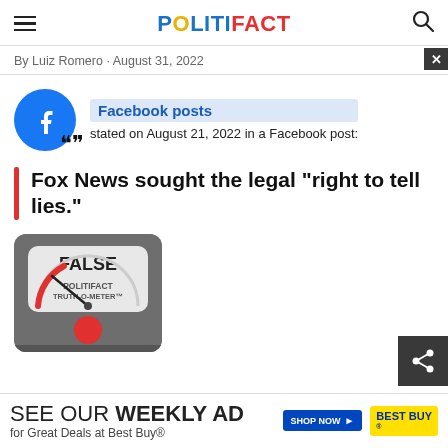POLITIFACT
By Luiz Romero · August 31, 2022
Facebook posts stated on August 21, 2022 in a Facebook post:
Fox News sought the legal "right to tell lies."
[Figure (other): PolitiFact Truth-O-Meter showing FALSE rating]
SEE OUR WEEKLY AD for Great Deals at Best Buy®